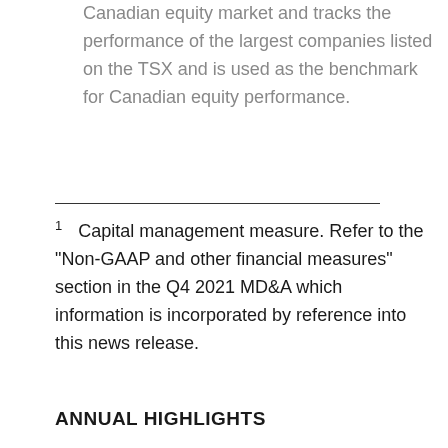Canadian equity market and tracks the performance of the largest companies listed on the TSX and is used as the benchmark for Canadian equity performance.
1  Capital management measure. Refer to the "Non-GAAP and other financial measures" section in the Q4 2021 MD&A which information is incorporated by reference into this news release.
ANNUAL HIGHLIGHTS